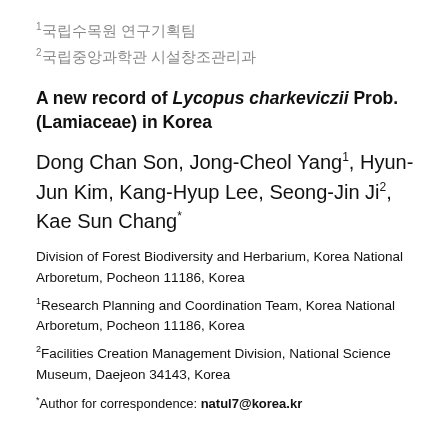1국립수목원 연구기획팀
2국립중앙과학관 시설창조관리과
A new record of Lycopus charkeviczii Prob. (Lamiaceae) in Korea
Dong Chan Son, Jong-Cheol Yang1, Hyun-Jun Kim, Kang-Hyup Lee, Seong-Jin Ji2, Kae Sun Chang*
Division of Forest Biodiversity and Herbarium, Korea National Arboretum, Pocheon 11186, Korea
1Research Planning and Coordination Team, Korea National Arboretum, Pocheon 11186, Korea
2Facilities Creation Management Division, National Science Museum, Daejeon 34143, Korea
*Author for correspondence: natul7@korea.kr